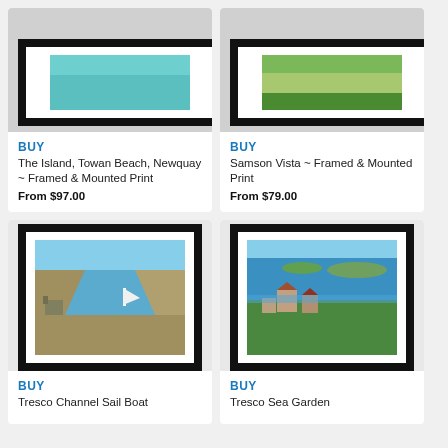[Figure (photo): Framed and mounted print of The Island, Towan Beach, Newquay - aerial/top-down view showing turquoise water, partially cropped at top]
BUY
The Island, Towan Beach, Newquay ~ Framed & Mounted Print
From $97.00
[Figure (photo): Framed and mounted print of Samson Vista - aerial view of green hills/landscape, partially cropped at top]
BUY
Samson Vista ~ Framed & Mounted Print
From $79.00
[Figure (photo): Framed and mounted print of Tresco Channel Sail Boat - aerial view showing channel, water, sailing boat, ruins]
BUY
Tresco Channel Sail Boat
[Figure (photo): Framed and mounted print of Tresco Sea Garden - aerial view showing buildings, blue sea, islands]
BUY
Tresco Sea Garden